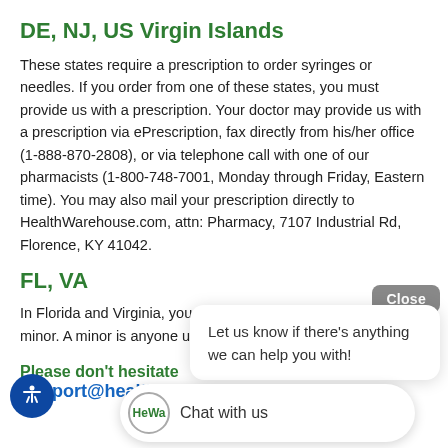DE, NJ, US Virgin Islands
These states require a prescription to order syringes or needles. If you order from one of these states, you must provide us with a prescription. Your doctor may provide us with a prescription via ePrescription, fax directly from his/her office (1-888-870-2808), or via telephone call with one of our pharmacists (1-800-748-7001, Monday through Friday, Eastern time). You may also mail your prescription directly to HealthWarehouse.com, attn: Pharmacy, 7107 Industrial Rd, Florence, KY 41042.
FL, VA
In Florida and Virginia, you asse... that you do not need a minor. A minor is anyone und...
Please don't hesitate
support@healthwarehouse.com if you have